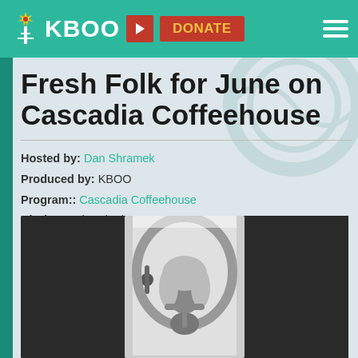KBOO | DONATE
Fresh Folk for June on Cascadia Coffeehouse
Hosted by: Dan Shramek
Produced by: KBOO
Program:: Cascadia Coffeehouse
Air date: Fri, 06/24/2022 - 5:30am to 7:00am
[Figure (photo): Black and white photo of a woman with long curly blonde hair holding a guitar, standing in a doorway]